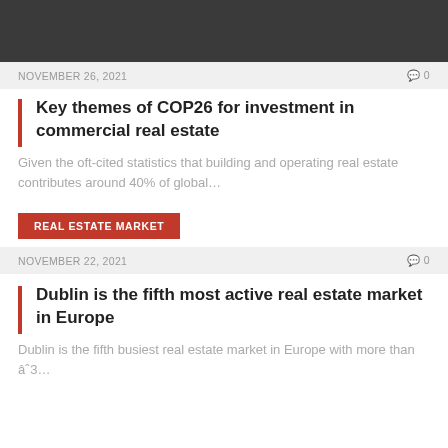[Figure (photo): Dark banner image at top of page]
NOVEMBER 26, 2021   0
Key themes of COP26 for investment in commercial real estate
Given the oft-cited statistics that building and operating real estate contributes around 40% of global…
REAL ESTATE MARKET
NOVEMBER 22, 2021   0
Dublin is the fifth most active real estate market in Europe
Dublin is the fifth busiest real estate market in Europe with more than â¬ 3…